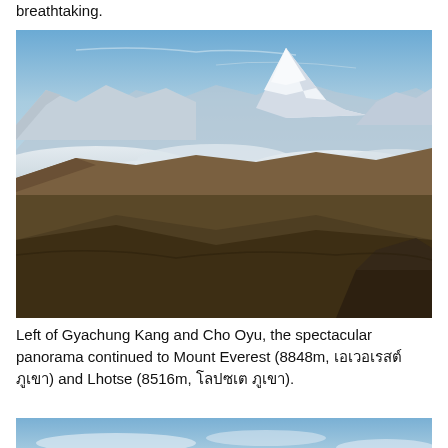breathtaking.
[Figure (photo): Panoramic mountain landscape showing snow-capped peaks including Mount Everest rising above clouds, with brown hillside terrain in the foreground]
Left of Gyachung Kang and Cho Oyu, the spectacular panorama continued to Mount Everest (8848m, เอเวอเรสต์ ภูเขา) and Lhotse (8516m, โลปซเต ภูเขา).
[Figure (photo): Partial view of a mountain landscape with blue sky, another scene showing terrain and sky]